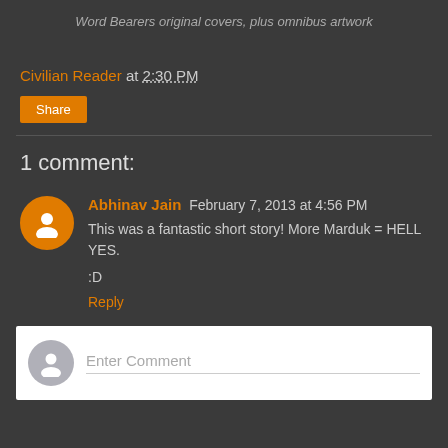Word Bearers original covers, plus omnibus artwork
Civilian Reader at 2:30 PM
Share
1 comment:
Abhinav Jain February 7, 2013 at 4:56 PM
This was a fantastic short story! More Marduk = HELL YES.

:D

Reply
Enter Comment